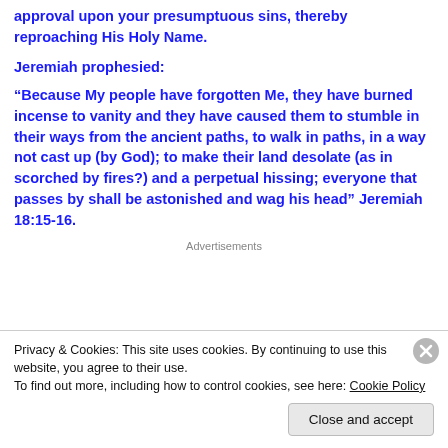approval upon your presumptuous sins, thereby reproaching His Holy Name.
Jeremiah prophesied:
“Because My people have forgotten Me, they have burned incense to vanity and they have caused them to stumble in their ways from the ancient paths, to walk in paths, in a way not cast up (by God); to make their land desolate (as in scorched by fires?) and a perpetual hissing; everyone that passes by shall be astonished and wag his head” Jeremiah 18:15-16.
Advertisements
Privacy & Cookies: This site uses cookies. By continuing to use this website, you agree to their use. To find out more, including how to control cookies, see here: Cookie Policy
Close and accept